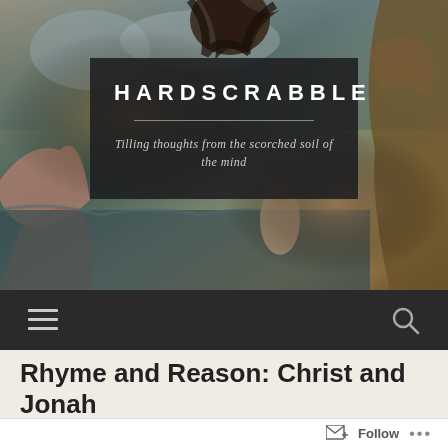[Figure (illustration): Classical painting background showing mythological or biblical figures in dark, dramatic tones with blues, greens, and golds. Figures appear near water.]
HARDSCRABBLE
Tilling thoughts from the scorched soil of the mind
[Figure (other): Navigation bar with hamburger menu icon on left and search/magnifying glass icon on right, on dark background]
Rhyme and Reason: Christ and Jonah
Follow